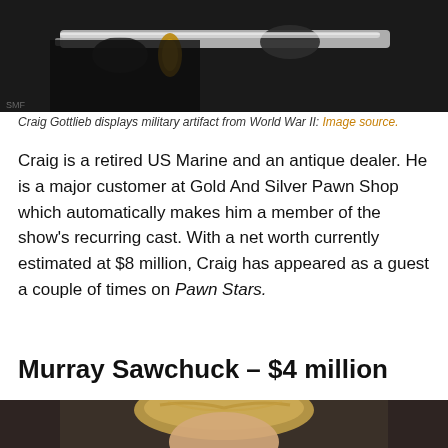[Figure (photo): Craig Gottlieb displaying a military sword/artifact from World War II against a dark background]
Craig Gottlieb displays military artifact from World War II: Image source.
Craig is a retired US Marine and an antique dealer. He is a major customer at Gold And Silver Pawn Shop which automatically makes him a member of the show’s recurring cast. With a net worth currently estimated at $8 million, Craig has appeared as a guest a couple of times on Pawn Stars.
Murray Sawchuck – $4 million
[Figure (photo): Murray Sawchuck portrait photo showing a blonde-haired man from the shoulders up against a dark background]